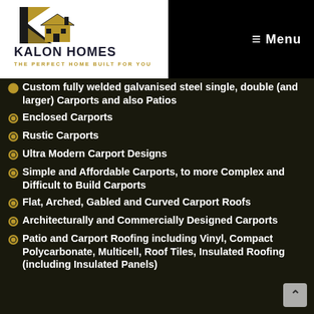[Figure (logo): Kalon Homes logo — stylized K with house/roofline in gold and black, text 'KALON HOMES' and 'THE PERFECT HOME BUILT FOR YOU']
≡ Menu
Custom fully welded galvanised steel single, double (and larger) Carports and also Patios
Enclosed Carports
Rustic Carports
Ultra Modern Carport Designs
Simple and Affordable Carports, to more Complex and Difficult to Build Carports
Flat, Arched, Gabled and Curved Carport Roofs
Architecturally and Commercially Designed Carports
Patio and Carport Roofing including Vinyl, Compact Polycarbonate, Multicell, Roof Tiles, Insulated Roofing (including Insulated Panels)